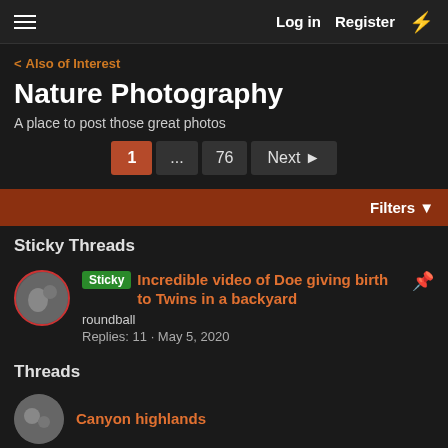Log in  Register
< Also of Interest
Nature Photography
A place to post those great photos
1  ...  76  Next ▶
Filters ▼
Sticky Threads
Sticky  Incredible video of Doe giving birth to Twins in a backyard
roundball
Replies: 11 · May 5, 2020
Threads
Canyon highlands